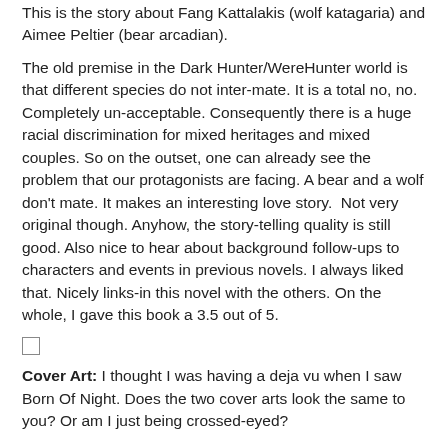This is the story about Fang Kattalakis (wolf katagaria) and Aimee Peltier (bear arcadian).
The old premise in the Dark Hunter/WereHunter world is that different species do not inter-mate. It is a total no, no. Completely un-acceptable. Consequently there is a huge racial discrimination for mixed heritages and mixed couples. So on the outset, one can already see the problem that our protagonists are facing. A bear and a wolf don't mate. It makes an interesting love story.  Not very original though. Anyhow, the story-telling quality is still good. Also nice to hear about background follow-ups to characters and events in previous novels. I always liked that. Nicely links-in this novel with the others. On the whole, I gave this book a 3.5 out of 5.
[Figure (other): Small checkbox/square UI element]
Cover Art: I thought I was having a deja vu when I saw Born Of Night. Does the two cover arts look the same to you? Or am I just being crossed-eyed?
It seems that Flora's Cayo tactics is catching... recycling